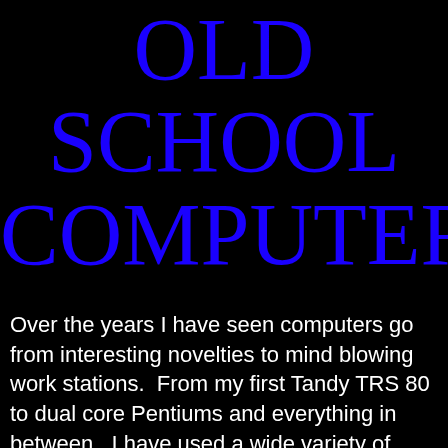OLD SCHOOL COMPUTERS
Over the years I have seen computers go from interesting novelties to mind blowing work stations.  From my first Tandy TRS 80 to dual core Pentiums and everything in between.  I have used a wide variety of